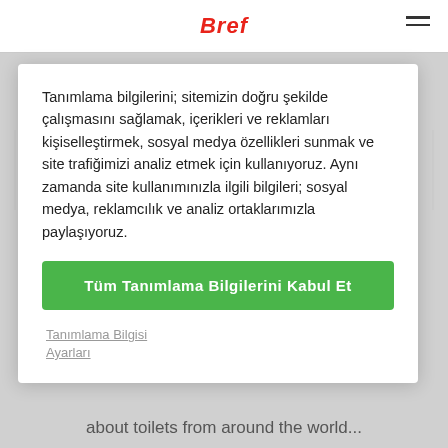Bref
Tanımlama bilgilerini; sitemizin doğru şekilde çalışmasını sağlamak, içerikleri ve reklamları kişiselleştirmek, sosyal medya özellikleri sunmak ve site trafiğimizi analiz etmek için kullanıyoruz. Aynı zamanda site kullanımınızla ilgili bilgileri; sosyal medya, reklamcılık ve analiz ortaklarımızla paylaşıyoruz.
Tüm Tanımlama Bilgilerini Kabul Et
Tanımlama Bilgisi Ayarları
about toilets from around the world...